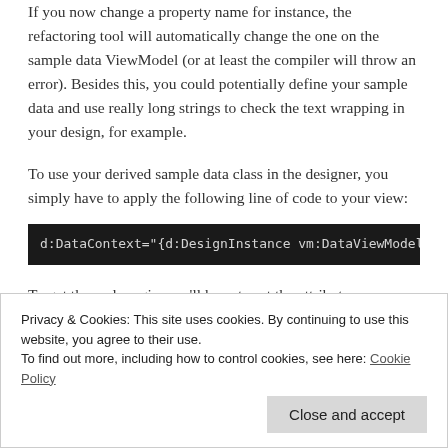If you now change a property name for instance, the refactoring tool will automatically change the one on the sample data ViewModel (or at least the compiler will throw an error). Besides this, you could potentially define your sample data and use really long strings to check the text wrapping in your design, for example.
To use your derived sample data class in the designer, you simply have to apply the following line of code to your view:
d:DataContext="{d:DesignInstance vm:DataViewModelSampleDa
To get the real magic, you'll have to set the attribute "IsDesignTimeCreatable" to true. In this case the empty constructor will be called and all your sample date (weather
Privacy & Cookies: This site uses cookies. By continuing to use this website, you agree to their use.
To find out more, including how to control cookies, see here: Cookie Policy
Close and accept